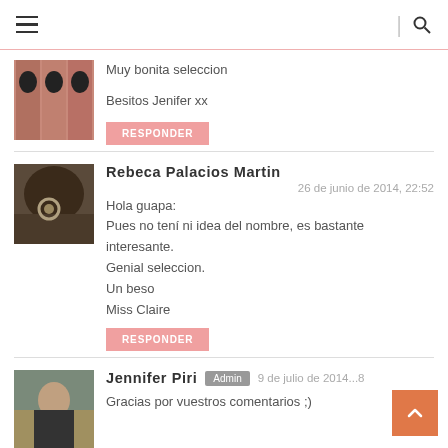Navigation header with hamburger menu and search icon
[Figure (photo): Avatar photo of a person repeated, pinkish tones]
Muy bonita seleccion

Besitos Jenifer xx
RESPONDER
[Figure (photo): Avatar photo showing dark abstract/hair close-up]
Rebeca Palacios Martin
26 de junio de 2014, 22:52
Hola guapa:
Pues no tení ni idea del nombre, es bastante interesante.
Genial seleccion.
Un beso
Miss Claire
RESPONDER
[Figure (photo): Avatar photo of young woman in dark clothes]
Jennifer Piri
Admin
9 de julio de 2014...8
Gracias por vuestros comentarios ;)